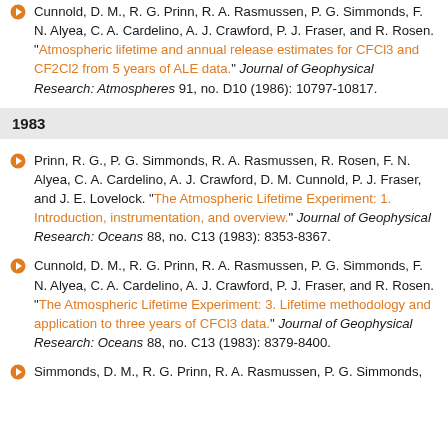Cunnold, D. M., R. G. Prinn, R. A. Rasmussen, P. G. Simmonds, F. N. Alyea, C. A. Cardelino, A. J. Crawford, P. J. Fraser, and R. Rosen. "Atmospheric lifetime and annual release estimates for CFCl3 and CF2Cl2 from 5 years of ALE data." Journal of Geophysical Research: Atmospheres 91, no. D10 (1986): 10797-10817.
1983
Prinn, R. G., P. G. Simmonds, R. A. Rasmussen, R. Rosen, F. N. Alyea, C. A. Cardelino, A. J. Crawford, D. M. Cunnold, P. J. Fraser, and J. E. Lovelock. "The Atmospheric Lifetime Experiment: 1. Introduction, instrumentation, and overview." Journal of Geophysical Research: Oceans 88, no. C13 (1983): 8353-8367.
Cunnold, D. M., R. G. Prinn, R. A. Rasmussen, P. G. Simmonds, F. N. Alyea, C. A. Cardelino, A. J. Crawford, P. J. Fraser, and R. Rosen. "The Atmospheric Lifetime Experiment: 3. Lifetime methodology and application to three years of CFCl3 data." Journal of Geophysical Research: Oceans 88, no. C13 (1983): 8379-8400.
Simmonds, D. M., R. G. Prinn, R. A. Rasmussen, P. G. Simmonds...